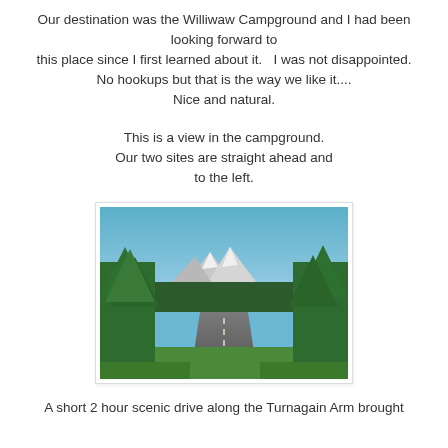Our destination was the Williwaw Campground and I had been looking forward to this place since I first learned about it.   I was not disappointed.
No hookups but that is the way we like it....
Nice and natural.
This is a view in the campground.
Our two sites are straight ahead and to the left.
[Figure (photo): A road through green forest trees with snow-capped mountains visible in the background under a blue sky — view inside Williwaw Campground.]
A short 2 hour scenic drive along the Turnagain Arm brought